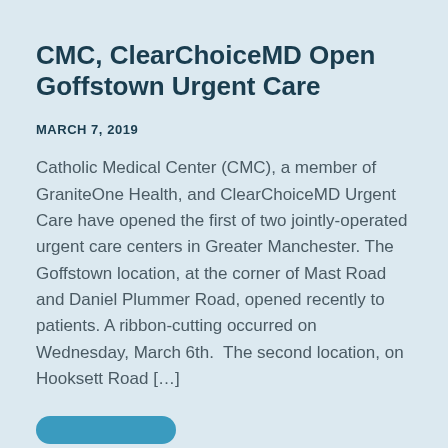CMC, ClearChoiceMD Open Goffstown Urgent Care
MARCH 7, 2019
Catholic Medical Center (CMC), a member of GraniteOne Health, and ClearChoiceMD Urgent Care have opened the first of two jointly-operated urgent care centers in Greater Manchester. The Goffstown location, at the corner of Mast Road and Daniel Plummer Road, opened recently to patients. A ribbon-cutting occurred on Wednesday, March 6th.  The second location, on Hooksett Road […]